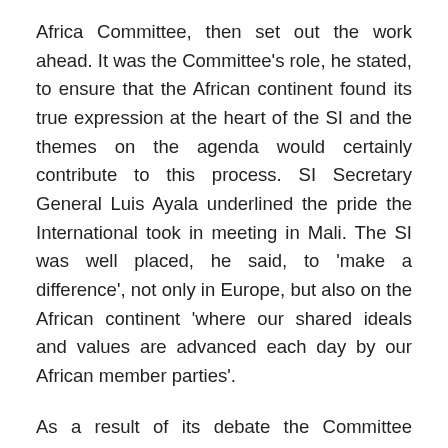Africa Committee, then set out the work ahead. It was the Committee's role, he stated, to ensure that the African continent found its true expression at the heart of the SI and the themes on the agenda would certainly contribute to this process. SI Secretary General Luis Ayala underlined the pride the International took in meeting in Mali. The SI was well placed, he said, to 'make a difference', not only in Europe, but also on the African continent 'where our shared ideals and values are advanced each day by our African member parties'.
As a result of its debate the Committee issued a statement on globalisation from the African perspective. Resolutions were adopted expressing